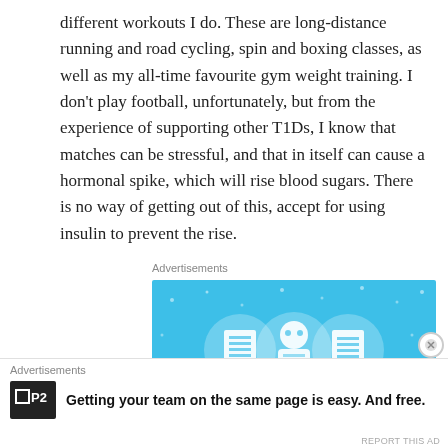different workouts I do. These are long-distance running and road cycling, spin and boxing classes, as well as my all-time favourite gym weight training. I don't play football, unfortunately, but from the experience of supporting other T1Ds, I know that matches can be stressful, and that in itself can cause a hormonal spike, which will rise blood sugars. There is no way of getting out of this, accept for using insulin to prevent the rise.
[Figure (illustration): Advertisement banner with light blue background, decorative star/dot pattern, and three circular icons showing stylized building/document illustrations.]
Advertisements
Advertisements
Getting your team on the same page is easy. And free.